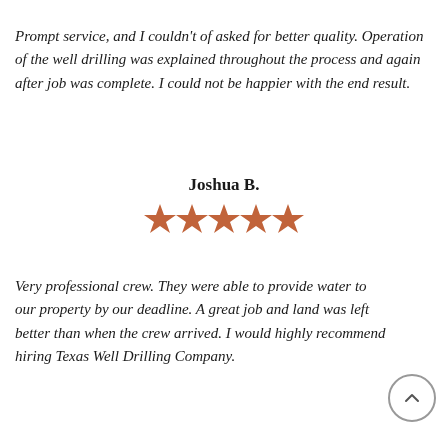Prompt service, and I couldn't of asked for better quality. Operation of the well drilling was explained throughout the process and again after job was complete. I could not be happier with the end result.
Joshua B.
[Figure (other): Five filled star rating icons in orange/terracotta color]
Very professional crew. They were able to provide water to our property by our deadline. A great job and land was left better than when the crew arrived. I would highly recommend hiring Texas Well Drilling Company.